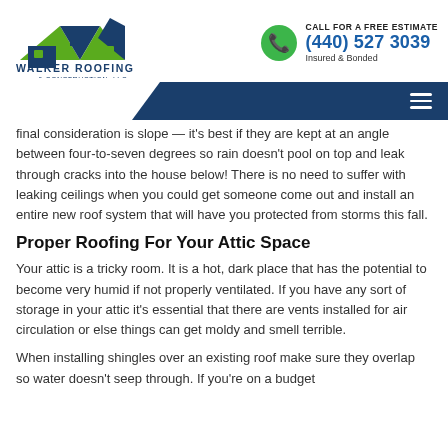[Figure (logo): Walker Roofing & Construction LLC logo with green roof icon and dark blue house/arrow]
CALL FOR A FREE ESTIMATE
(440) 527 3039
Insured & Bonded
final consideration is slope — it's best if they are kept at an angle between four-to-seven degrees so rain doesn't pool on top and leak through cracks into the house below! There is no need to suffer with leaking ceilings when you could get someone come out and install an entire new roof system that will have you protected from storms this fall.
Proper Roofing For Your Attic Space
Your attic is a tricky room. It is a hot, dark place that has the potential to become very humid if not properly ventilated. If you have any sort of storage in your attic it's essential that there are vents installed for air circulation or else things can get moldy and smell terrible.
When installing shingles over an existing roof make sure they overlap so water doesn't seep through. If you're on a budget